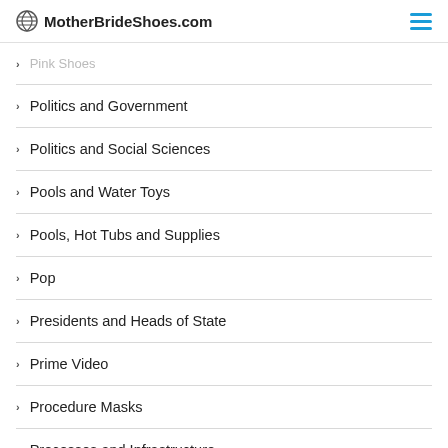MotherBrideShoes.com
Pink Shoes
Politics and Government
Politics and Social Sciences
Pools and Water Toys
Pools, Hot Tubs and Supplies
Pop
Presidents and Heads of State
Prime Video
Procedure Masks
Processes and Infrastructure